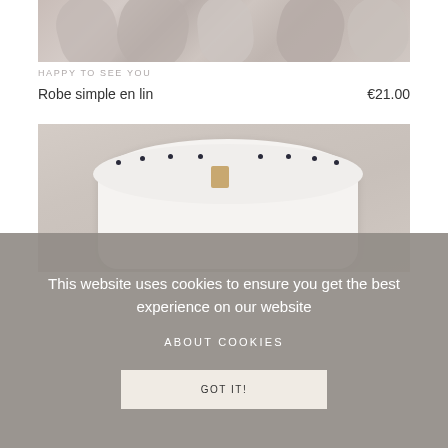[Figure (photo): Top portion of a product photo showing fabric rolls or textile samples in muted pink, grey, and beige tones]
HAPPY TO SEE YOU
Robe simple en lin	€21.00
[Figure (photo): Close-up photo of a white children's dress or blouse with a ruffled collar, small dark dot buttons, and a tan leather tag, laid flat on a light wood surface]
This website uses cookies to ensure you get the best experience on our website
ABOUT COOKIES
GOT IT!